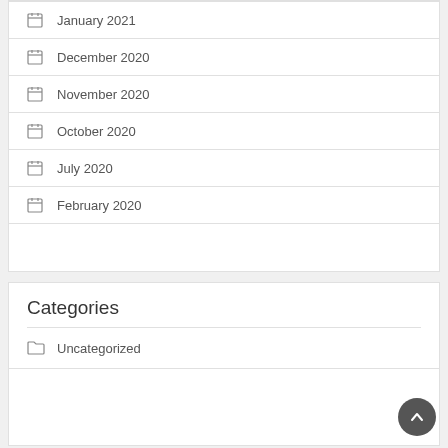January 2021
December 2020
November 2020
October 2020
July 2020
February 2020
Categories
Uncategorized